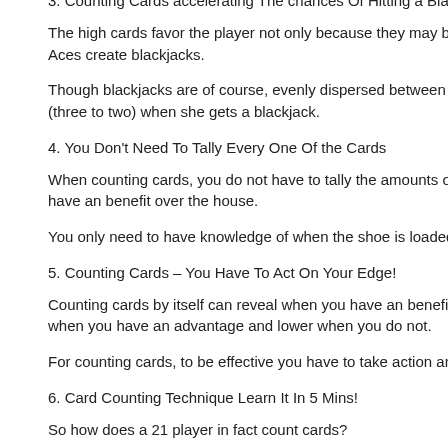3. Counting Cards accelerating The chances Of Hitting a Blackjack
The high cards favor the player not only because they may bust the casino when the 10 value cards and Aces create blackjacks.
Though blackjacks are of course, evenly dispersed between the house and the player, the gambler is paid more (three to two) when she gets a blackjack.
4. You Don't Need To Tally Every One Of the Cards
When counting cards, you do not have to tally the amounts of each of the specific cards to understand when you have an benefit over the house.
You only need to have knowledge of when the shoe is loaded or poor in high cards to help the gambler.
5. Counting Cards – You Have To Act On Your Edge!
Counting cards by itself can reveal when you have an benefit, but to pump up your profits, you need your bet amount up when you have an advantage and lower when you do not.
For counting cards, to be effective you have to take action and draw on on the circumstances that are beneficial to you.
6. Card Counting Technique Learn It In 5 Mins!
So how does a 21 player in fact count cards?
There are many different arrangements; some are awkward to master, while a few are easier to master.
In actuality, you can become versed in an unsophisticated effective card counting technique,